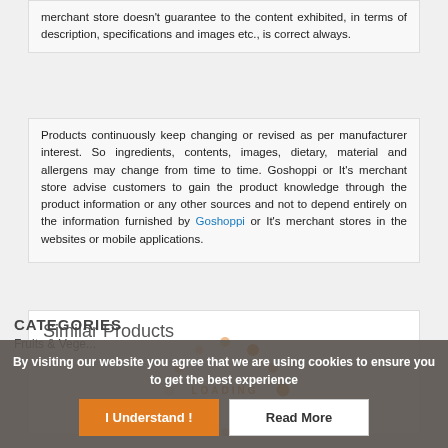merchant store doesn't guarantee to the content exhibited, in terms of description, specifications and images etc., is correct always.
Products continuously keep changing or revised as per manufacturer interest. So ingredients, contents, images, dietary, material and allergens may change from time to time. Goshoppi or It's merchant store advise customers to gain the product knowledge through the product information or any other sources and not to depend entirely on the information furnished by Goshoppi or It's merchant stores in the websites or mobile applications.
Similar Products
[Figure (other): Orange loading spinner animation with dots arranged in a circle and the text LOADING in the center]
By visiting our website you agree that we are using cookies to ensure you to get the best experience
I Understand !
Read More
CATEGORIES
Fruits & Vege...